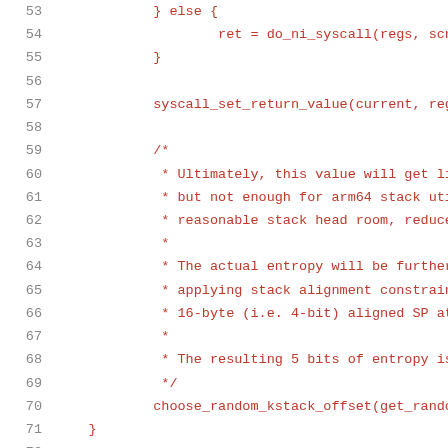Source code listing, lines 53-74, showing C code with syscall_set_return_value, choose_random_kstack_offset, and has_syscall_work functions with comments about entropy and stack alignment.